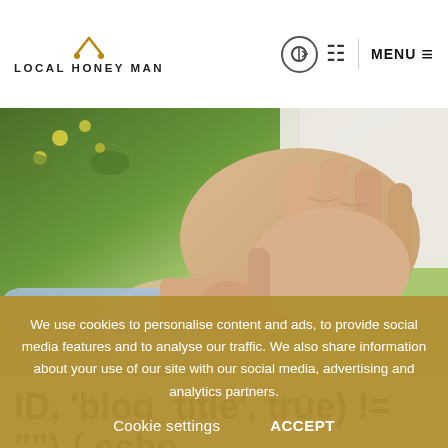LOCAL HONEY MAN
[Figure (photo): Close-up photo of a person covering their face/nose with their hands, with green foliage in the background. The person is wearing a ring.]
ID, 'blog_title', true) != "") { echo
We use cookies to personalise content and ads, to provide social media features and to analyse our traffic. We also share information about your use of our site with our social media, advertising and analytics partners.
Cookie settings   ACCEPT